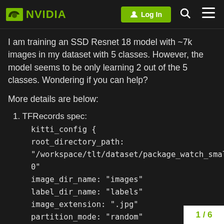[Figure (screenshot): NVIDIA forum navigation bar with logo, Log In button, search icon, and menu icon]
I am training an SSD Resnet 18 model with ~7k images in my dataset with 5 classes. However, the model seems to be only learning 2 out of the 5 classes. Wondering if you can help?
More details are below:
1. TFRecords spec:
kitti_config {
root_directory_path:
"/workspace/tlt/dataset/package_watch_small/7000"
image_dir_name: "images"
label_dir_name: "labels"
image_extension: ".jpg"
partition_mode: "random"
num_partitions: 2
val_split: 20
num_shards: 10
}